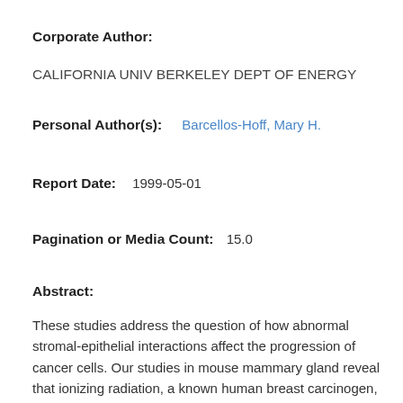Corporate Author:
CALIFORNIA UNIV BERKELEY DEPT OF ENERGY
Personal Author(s):
Barcellos-Hoff, Mary H.
Report Date:
1999-05-01
Pagination or Media Count:
15.0
Abstract:
These studies address the question of how abnormal stromal-epithelial interactions affect the progression of cancer cells. Our studies in mouse mammary gland reveal that ionizing radiation, a known human breast carcinogen, elicits rapid and persistent global changes in the tissue microenvironment. If the microenvironments induced by carcinogens can shape the features and frequency of neoplastic phenotypes, then the carcinogen fingerprint may